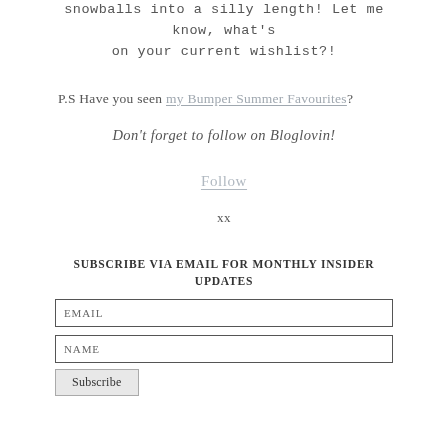snowballs into a silly length! Let me know, what's on your current wishlist?!
P.S Have you seen my Bumper Summer Favourites?
Don't forget to follow on Bloglovin!
Follow
xx
SUBSCRIBE VIA EMAIL FOR MONTHLY INSIDER UPDATES
EMAIL
NAME
Subscribe